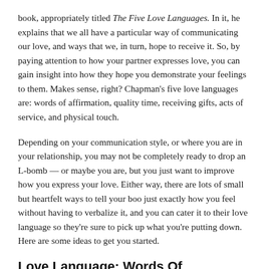book, appropriately titled The Five Love Languages. In it, he explains that we all have a particular way of communicating our love, and ways that we, in turn, hope to receive it. So, by paying attention to how your partner expresses love, you can gain insight into how they hope you demonstrate your feelings to them. Makes sense, right? Chapman's five love languages are: words of affirmation, quality time, receiving gifts, acts of service, and physical touch.
Depending on your communication style, or where you are in your relationship, you may not be completely ready to drop an L-bomb — or maybe you are, but you just want to improve how you express your love. Either way, there are lots of small but heartfelt ways to tell your boo just exactly how you feel without having to verbalize it, and you can cater it to their love language so they're sure to pick up what you're putting down. Here are some ideas to get you started.
Love Language: Words Of Affirmation